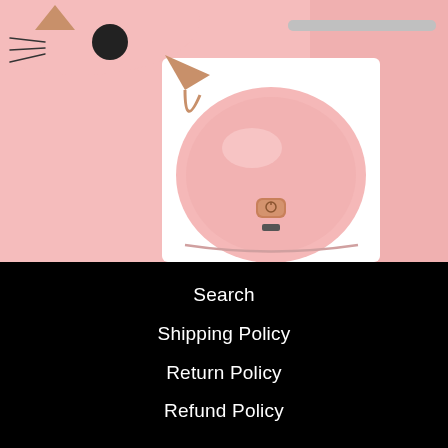[Figure (photo): Close-up product photo of a pink cat-shaped humidifier/device. Top portion shows a cute cat face with black circle nose and whisker marks on a pink background. Bottom portion shows the rounded pink body of the device with a rose-gold power button and charging port, positioned against a white panel background. A gray bar is visible in the upper right.]
Search
Shipping Policy
Return Policy
Refund Policy